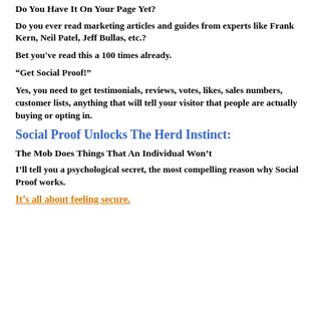Do You Have It On Your Page Yet?
Do you ever read marketing articles and guides from experts like Frank Kern, Neil Patel, Jeff Bullas, etc.?
Bet you've read this a 100 times already.
“Get Social Proof!”
Yes, you need to get testimonials, reviews, votes, likes, sales numbers, customer lists, anything that will tell your visitor that people are actually buying or opting in.
Social Proof Unlocks The Herd Instinct:
The Mob Does Things That An Individual Won’t
I’ll tell you a psychological secret, the most compelling reason why Social Proof works.
It’s all about feeling secure.